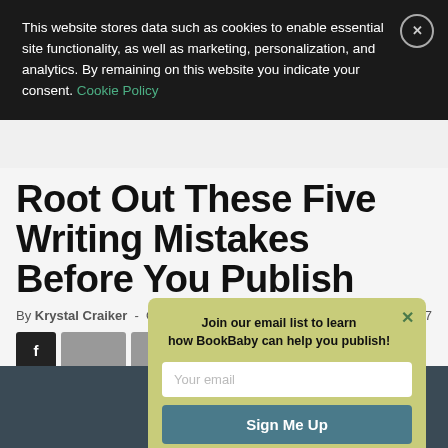This website stores data such as cookies to enable essential site functionality, as well as marketing, personalization, and analytics. By remaining on this website you indicate your consent. Cookie Policy
Root Out These Five Writing Mistakes Before You Publish
By Krystal Craiker - October 16, 2020  7
[Figure (screenshot): Social share buttons including Facebook (f) button and additional share buttons]
[Figure (infographic): Email signup popup with olive/yellow-green background. Title: Join our email list to learn how BookBaby can help you publish! Input field: Your email. Button: Sign Me Up]
[Figure (photo): Partial dark blue-grey image at the bottom of the page]